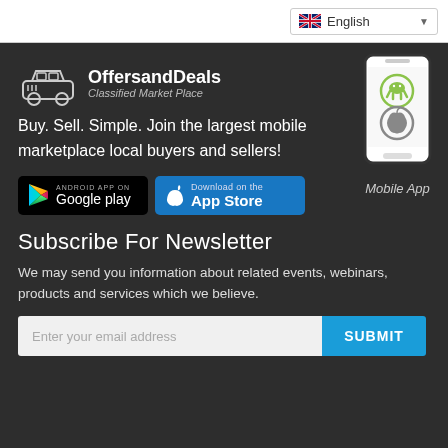English (language selector)
[Figure (logo): OffersandDeals car logo icon with text OffersandDeals Classified Market Place]
Buy. Sell. Simple. Join the largest mobile marketplace local buyers and sellers!
[Figure (screenshot): Google Play and App Store download buttons, plus mobile app phone graphic with Android and Apple icons]
Subscribe For Newsletter
We may send you information about related events, webinars, products and services which we believe.
Enter your email address  SUBMIT